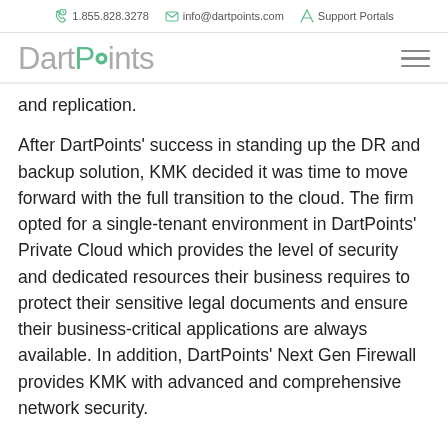1.855.828.3278  info@dartpoints.com  Support Portals
[Figure (logo): DartPoints logo with green dot in the letter O]
and replication.
After DartPoints' success in standing up the DR and backup solution, KMK decided it was time to move forward with the full transition to the cloud. The firm opted for a single-tenant environment in DartPoints' Private Cloud which provides the level of security and dedicated resources their business requires to protect their sensitive legal documents and ensure their business-critical applications are always available. In addition, DartPoints' Next Gen Firewall provides KMK with advanced and comprehensive network security.